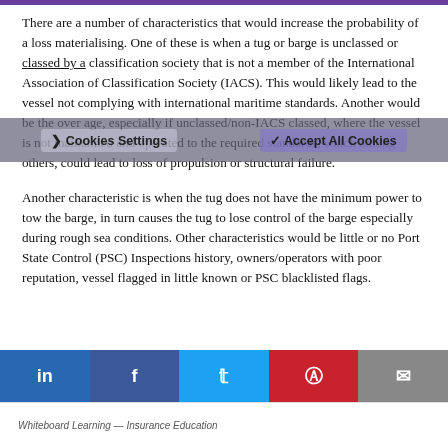There are a number of characteristics that would increase the probability of a loss materialising. One of these is when a tug or barge is unclassed or classed by a classification society that is not a member of the International Association of Classification Society (IACS). This would likely lead to the vessel not complying with international maritime standards. Another would be the over age, especially if unclassed/non-IACS classed, where the vessel is not maintained and operated to the required standards, which among others, could lead to loss of propulsion or structural failure.
Another characteristic is when the tug does not have the minimum power to tow the barge, in turn causes the tug to lose control of the barge especially during rough sea conditions. Other characteristics would be little or no Port State Control (PSC) Inspections history, owners/operators with poor reputation, vessel flagged in little known or PSC blacklisted flags.